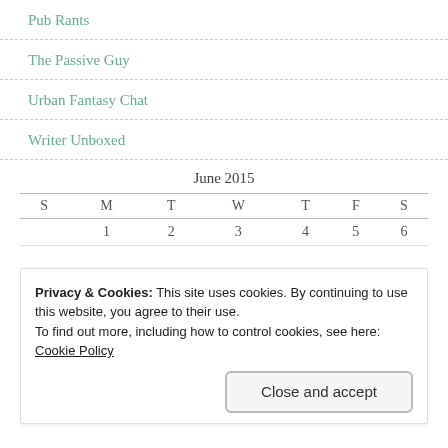Pub Rants
The Passive Guy
Urban Fantasy Chat
Writer Unboxed
| S | M | T | W | T | F | S |
| --- | --- | --- | --- | --- | --- | --- |
|  | 1 | 2 | 3 | 4 | 5 | 6 |
Privacy & Cookies: This site uses cookies. By continuing to use this website, you agree to their use.
To find out more, including how to control cookies, see here:
Cookie Policy
Close and accept